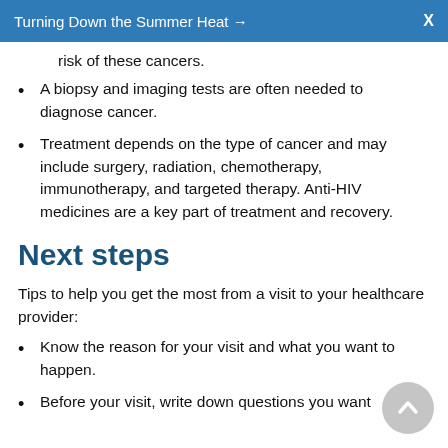Turning Down the Summer Heat →   X
risk of these cancers.
A biopsy and imaging tests are often needed to diagnose cancer.
Treatment depends on the type of cancer and may include surgery, radiation, chemotherapy, immunotherapy, and targeted therapy. Anti-HIV medicines are a key part of treatment and recovery.
Next steps
Tips to help you get the most from a visit to your healthcare provider:
Know the reason for your visit and what you want to happen.
Before your visit, write down questions you want